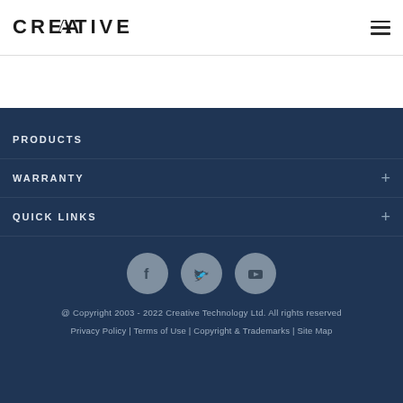[Figure (logo): Creative Technology logo - stylized text CREATIVE in uppercase bold with angular cut in letter A]
[Figure (other): Hamburger/menu icon - three horizontal lines]
PRODUCTS
WARRANTY
QUICK LINKS
[Figure (other): Three social media icon circles: Facebook (f), Twitter (bird), YouTube (play button triangle)]
@ Copyright 2003 - 2022 Creative Technology Ltd. All rights reserved
Privacy Policy | Terms of Use | Copyright & Trademarks | Site Map